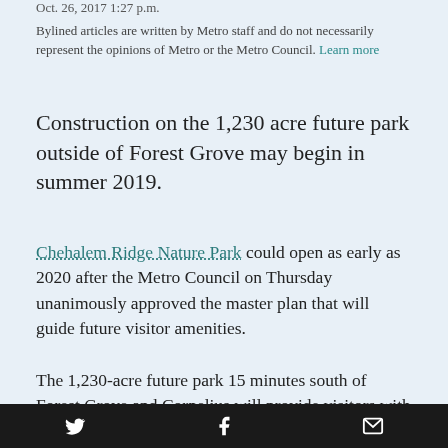Oct. 26, 2017 1:27 p.m.
Bylined articles are written by Metro staff and do not necessarily represent the opinions of Metro or the Metro Council. Learn more
Construction on the 1,230 acre future park outside of Forest Grove may begin in summer 2019.
Chehalem Ridge Nature Park could open as early as 2020 after the Metro Council on Thursday unanimously approved the master plan that will guide future visitor amenities.
The 1,230-acre future park 15 minutes south of Forest Grove and Cornelius will provide visitors with opportunities to enjoy picnics, take in views from the Coast Range to the Cascade Mountains, and hike, bike and ride horses on about nine miles of trails.
Twitter | Facebook | Email